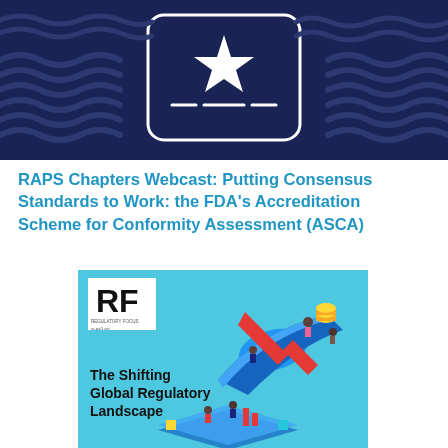[Figure (illustration): Dark navy blue banner graphic with wavy water-like lines and a white star icon centered in a rounded rectangle frame — RAPS webcast header illustration]
RAPS Chapters Webcast: Putting Consensus Standards to Work: the FDA's Accreditation Scheme for Conformity Assessment (ASCA)
[Figure (illustration): Cover of Regulatory Focus magazine with RF logo in top left, light blue background, isometric illustration of people examining a large declining graph with gold coins, and text reading 'The Shifting Global Regulatory Landscape']